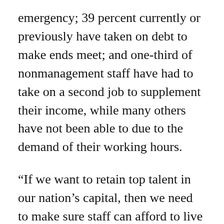emergency; 39 percent currently or previously have taken on debt to make ends meet; and one-third of nonmanagement staff have had to take on a second job to supplement their income, while many others have not been able to due to the demand of their working hours.
“If we want to retain top talent in our nation’s capital, then we need to make sure staff can afford to live there,” said Alexandra Weinroth, communications director for Democrats on the House Budget Committee and president of the bipartisan Women’s Congressional Staff Association, further remarks cut off...